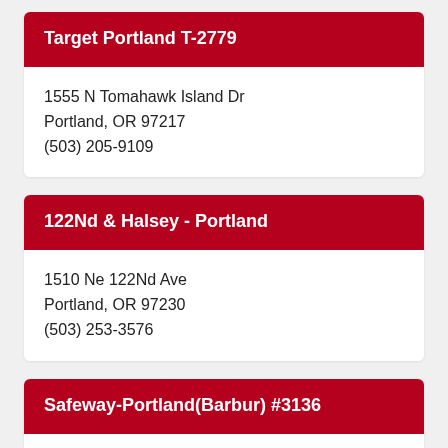Target Portland T-2779
1555 N Tomahawk Island Dr
Portland, OR 97217
(503) 205-9109
122Nd & Halsey - Portland
1510 Ne 122Nd Ave
Portland, OR 97230
(503) 253-3576
Safeway-Portland(Barbur) #3136
8145 Sw Barbur Blvd